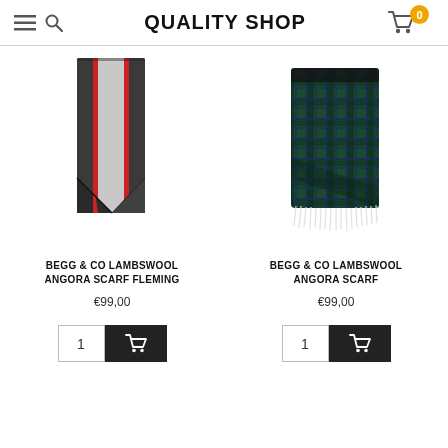QUALITY SHOP
[Figure (photo): Begg & Co lambswool angora scarf Fleming — dark grey with red stripe accents, folded]
BEGG & CO LAMBSWOOL ANGORA SCARF FLEMING
€99,00
[Figure (photo): Begg & Co lambswool angora scarf — dark green and navy tartan plaid with fringe, folded]
BEGG & CO LAMBSWOOL ANGORA SCARF
€99,00